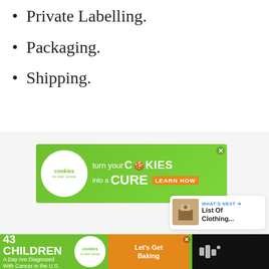Private Labelling.
Packaging.
Shipping.
[Figure (other): Advertisement banner: 'turn your COOKIES into a CURE LEARN HOW' for cookies for kids' cancer]
[Figure (other): Heart (favorite) button, circular blue icon]
[Figure (other): Share button, circular white icon with share symbol]
[Figure (other): WHAT'S NEXT panel showing 'List Of Clothing...' with thumbnail image]
[Figure (other): Bottom advertisement banner: '43 CHILDREN A Day Are Diagnosed With Cancer in the U.S.' with cookies for kids' cancer logo and 'Let's Get Baking' call to action]